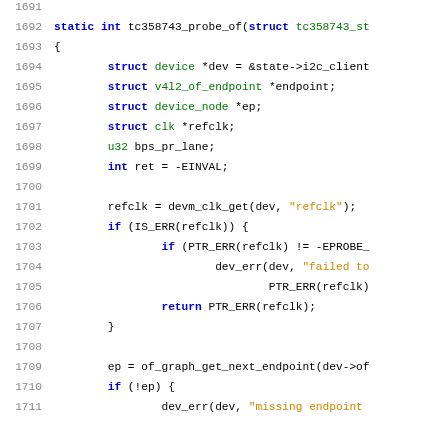[Figure (screenshot): Source code listing showing C function tc358743_probe_of, lines 1691-1711, with syntax highlighting: keywords in blue, types in green, string literals in orange/gold, line numbers in gray.]